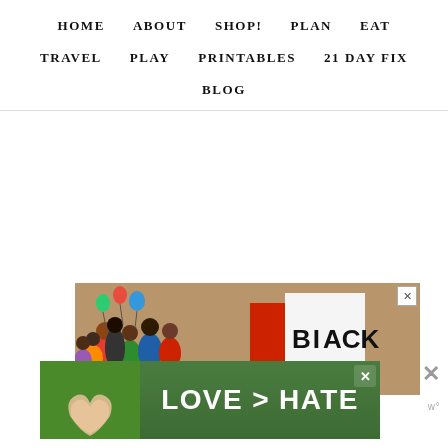HOME   ABOUT   SHOP!   PLAN   EAT   TRAVEL   PLAY   PRINTABLES   21 DAY FIX   BLOG
[Figure (illustration): Advertisement banner showing colorful illustrated crowd of people holding a sign that reads BLACK, and a protest/social justice advertisement with text LOVE > HATE on a green background with hands forming a heart shape]